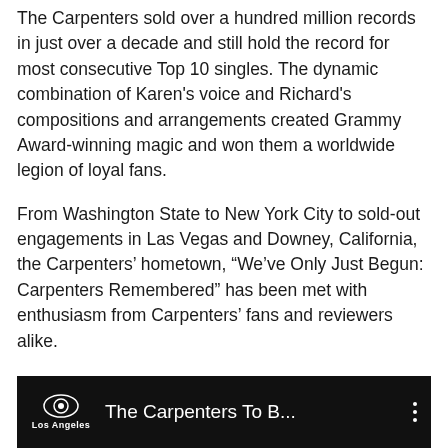The Carpenters sold over a hundred million records in just over a decade and still hold the record for most consecutive Top 10 singles. The dynamic combination of Karen's voice and Richard's compositions and arrangements created Grammy Award-winning magic and won them a worldwide legion of loyal fans.
From Washington State to New York City to sold-out engagements in Las Vegas and Downey, California, the Carpenters' hometown, “We’ve Only Just Begun: Carpenters Remembered” has been met with enthusiasm from Carpenters’ fans and reviewers alike.
Experience an intimate behind-the-scenes portrait of the pop music phenomenon that defined an era, and sing along with hits that include “Close to You,” “Yesterday Once More,” “Rainy Days and Mondays,” and many more.
[Figure (screenshot): Video thumbnail showing CBS Los Angeles logo on the left and text 'The Carpenters To B...' on a dark/black background, with a three-dot menu icon on the right.]